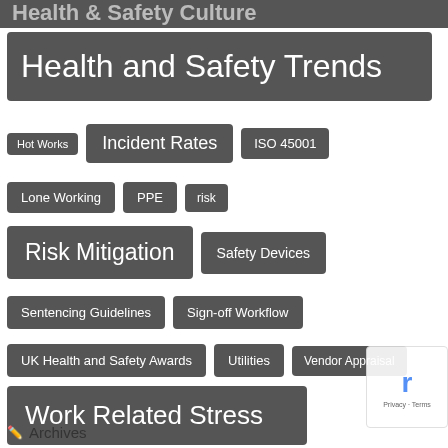Health & Safety Culture
Health and Safety Trends
Hot Works
Incident Rates
ISO 45001
Lone Working
PPE
risk
Risk Mitigation
Safety Devices
Sentencing Guidelines
Sign-off Workflow
UK Health and Safety Awards
Utilities
Vendor Appraisal
Work Related Stress
Archives